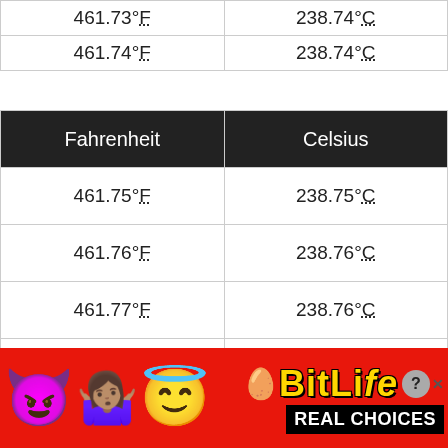| Fahrenheit | Celsius |
| --- | --- |
| 461.73°F | 238.74°C |
| 461.74°F | 238.74°C |
| 461.75°F | 238.75°C |
| 461.76°F | 238.76°C |
| 461.77°F | 238.76°C |
| 461.78°F | 238.77°C |
| 461.79°F | 238.77°C |
| 461.80°F | 238.78°C |
[Figure (other): BitLife advertisement banner with emoji characters (devil, woman shrugging, angel face, sperm emoji) and text 'BitLife REAL CHOICES' on red background]